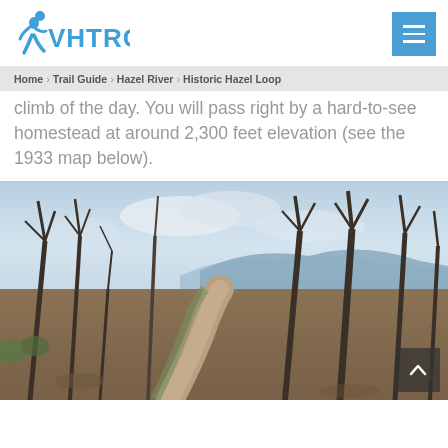[Figure (logo): VHTRC logo — blue running figure with VHTRC text in blue]
Home › Trail Guide › Hazel River › Historic Hazel Loop
climb of the day. You will pass right by a hard-to-see homestead at around 2,300 feet elevation (see the 1933 map below).
[Figure (photo): Woodland trail winding through bare winter trees with blue mountain ridge visible in the background, leaf-covered ground, mossy edges.]